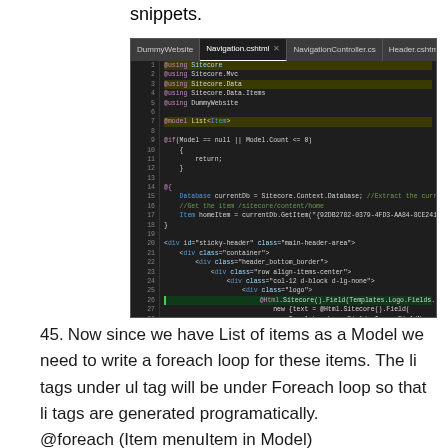snippets.
[Figure (screenshot): Visual Studio code editor showing Navigation.cshtml file with C# Razor code including @using directives, @model List<Item>, @if block, @{ block with Sitecore database access, and HTML markup for sticky-header div structure]
45. Now since we have List of items as a Model we need to write a foreach loop for these items. The li tags under ul tag will be under Foreach loop so that li tags are generated programatically.
@foreach (Item menuItem in Model)
{